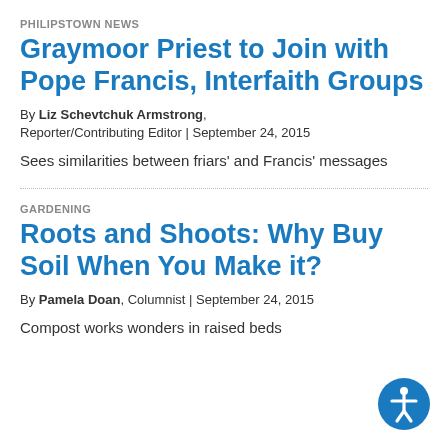PHILIPSTOWN NEWS
Graymoor Priest to Join with Pope Francis, Interfaith Groups
By Liz Schevtchuk Armstrong, Reporter/Contributing Editor | September 24, 2015
Sees similarities between friars' and Francis' messages
GARDENING
Roots and Shoots: Why Buy Soil When You Make it?
By Pamela Doan, Columnist | September 24, 2015
Compost works wonders in raised beds
[Figure (illustration): Accessibility icon — a circular blue button with a white figure of a person with arms outstretched]